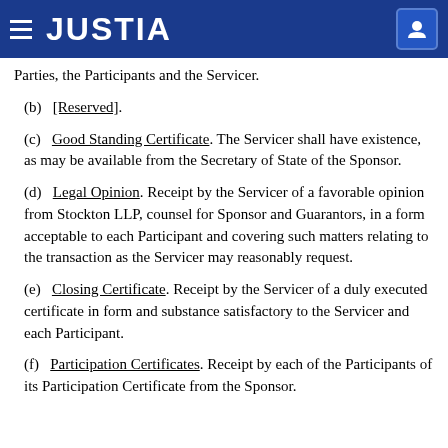JUSTIA
Parties, the Participants and the Servicer.
(b) [Reserved].
(c) Good Standing Certificate. The Servicer shall have existence, as may be available from the Secretary of State of the Sponsor.
(d) Legal Opinion. Receipt by the Servicer of a favorable opinion from Stockton LLP, counsel for Sponsor and Guarantors, in a form acceptable to each Participant and covering such matters relating to the transaction as the Servicer may reasonably request.
(e) Closing Certificate. Receipt by the Servicer of a duly executed certificate in form and substance satisfactory to the Servicer and each Participant.
(f) Participation Certificates. Receipt by each of the Participants of its Participation Certificate from the Sponsor.